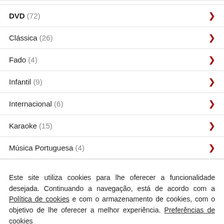DVD (72)
Clássica (26)
Fado (4)
Infantil (9)
Internacional (6)
Karaoke (15)
Música Portuguesa (4)
Este site utiliza cookies para lhe oferecer a funcionalidade desejada. Continuando a navegação, está de acordo com a Política de cookies e com o armazenamento de cookies, com o objetivo de lhe oferecer a melhor experiência. Preferências de cookies
Concordo